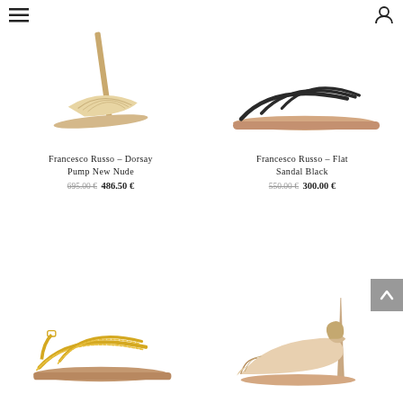[Figure (photo): Francesco Russo Dorsay Pump New Nude – beige high heel pump with gathered fabric toe strap]
Francesco Russo – Dorsay Pump New Nude
695.00 € 486.50 €
[Figure (photo): Francesco Russo Flat Sandal Black – black strappy flat sandal with tan sole]
Francesco Russo – Flat Sandal Black
550.00 € 300.00 €
[Figure (photo): Gold braided strappy flat sandal with ankle strap]
[Figure (photo): Francesco Russo nude pointed toe slingback pump with bow detail and stiletto heel]